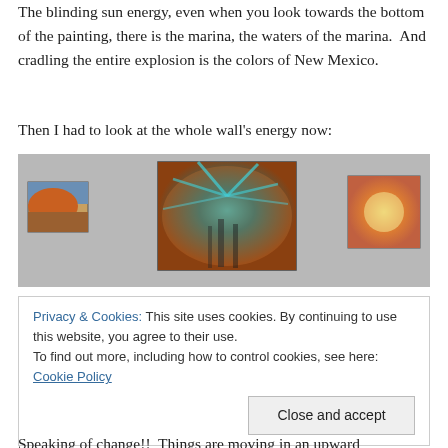The blinding sun energy, even when you look towards the bottom of the painting, there is the marina, the waters of the marina.  And cradling the entire explosion is the colors of New Mexico.
Then I had to look at the whole wall's energy now:
[Figure (photo): Photo of three paintings hanging on a gallery wall. Center painting is large, dominated by teal/blue radiating brushstrokes with warm orange and brown tones, suggesting an explosive energy. Left wall has a small landscape painting with orange hills and blue sky. Right wall has a medium painting with warm orange, red, and gold tones with a sunburst effect.]
Privacy & Cookies: This site uses cookies. By continuing to use this website, you agree to their use.
To find out more, including how to control cookies, see here: Cookie Policy
Speaking of change!!  Things are moving in an upward